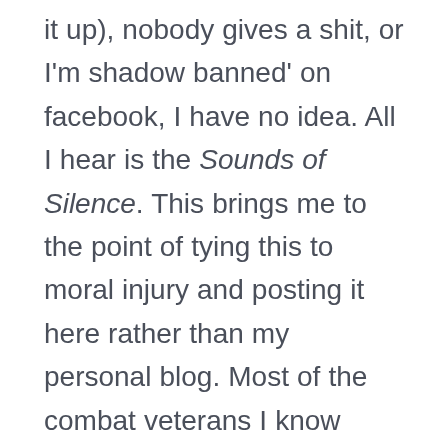it up), nobody gives a shit, or I'm shadow banned' on facebook, I have no idea. All I hear is the Sounds of Silence. This brings me to the point of tying this to moral injury and posting it here rather than my personal blog. Most of the combat veterans I know (myself included) that suffer from moral injury, suffer almost exclusively in oppressive silence. As an aside, empty platitudes such as 'thank you for your service' tend to irritate me, but I will usually just smile and nod, at least here in Washington state and Arizona where it is usually accompanied by a 10% discount. This silent suffering and inconsolable grief that comes from losing mates in combat, to losing parts of your soul in service to a lie, to losing a part of you represented by this dog that loved you